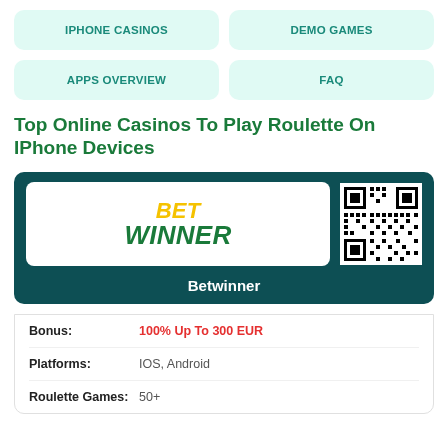IPHONE CASINOS
DEMO GAMES
APPS OVERVIEW
FAQ
Top Online Casinos To Play Roulette On IPhone Devices
[Figure (infographic): Betwinner casino card with logo (BET WINNER in yellow/green italic) and QR code on dark teal background, with text 'Betwinner' below logo]
| Field | Value |
| --- | --- |
| Bonus: | 100% Up To 300 EUR |
| Platforms: | IOS, Android |
| Roulette Games: | 50+ |